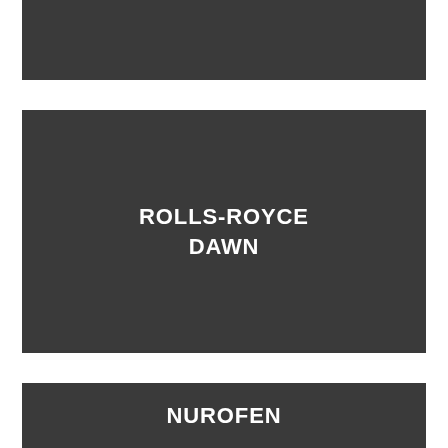[Figure (other): Dark grey rectangular placeholder image at top]
[Figure (other): Dark grey rectangular placeholder image in center with text ROLLS-ROYCE DAWN]
ROLLS-ROYCE DAWN
[Figure (other): Dark grey rectangular placeholder image at bottom with text NUROFEN]
NUROFEN